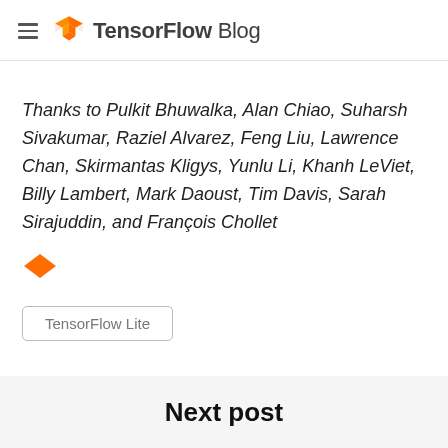TensorFlow Blog
Thanks to Pulkit Bhuwalka, Alan Chiao, Suharsh Sivakumar, Raziel Alvarez, Feng Liu, Lawrence Chan, Skirmantas Kligys, Yunlu Li, Khanh LeViet, Billy Lambert, Mark Daoust, Tim Davis, Sarah Sirajuddin, and François Chollet
[Figure (illustration): Orange diamond/rhombus decorative separator]
TensorFlow Lite
Next post